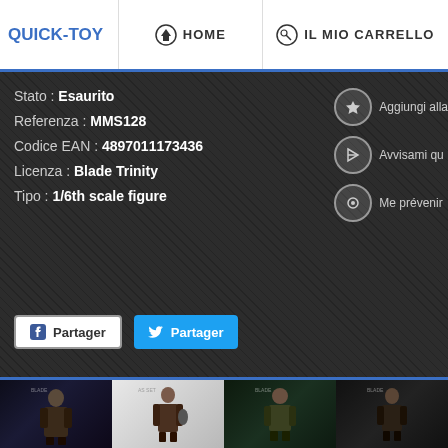QUICK-TOY  HOME  IL MIO CARRELLO
Stato : Esaurito
Referenza : MMS128
Codice EAN : 4897011173436
Licenza : Blade Trinity
Tipo : 1/6th scale figure
Aggiungi alla
Avvisami qu
Me prévenir
Partager
Partager
[Figure (photo): Thumbnail 1: action figure character in dark setting]
[Figure (photo): Thumbnail 2: action figure character white background]
[Figure (photo): Thumbnail 3: action figure character in dark setting]
[Figure (photo): Thumbnail 4: action figure character in dark setting]